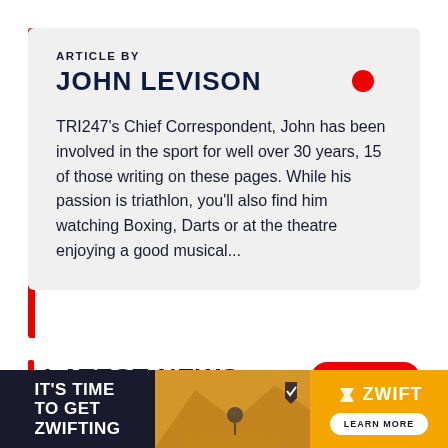ARTICLE BY
JOHN LEVISON
TRI247's Chief Correspondent, John has been involved in the sport for well over 30 years, 15 of those writing on these pages. While his passion is triathlon, you'll also find him watching Boxing, Darts or at the theatre enjoying a good musical...
LATEST NEWS
ALL NEWS
[Figure (infographic): Zwift advertisement banner: 'IT'S TIME TO GET ZWIFTING' with cycling image and Zwift logo with 'LEARN MORE' button]